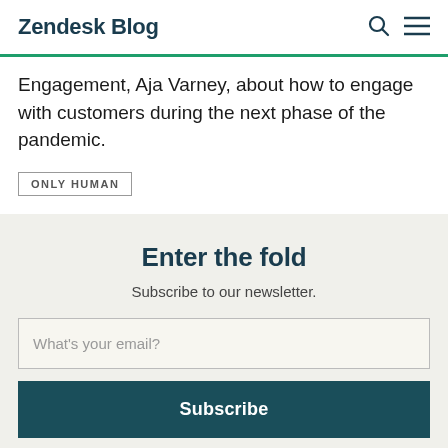Zendesk Blog
Engagement, Aja Varney, about how to engage with customers during the next phase of the pandemic.
ONLY HUMAN
Enter the fold
Subscribe to our newsletter.
What's your email?
Subscribe